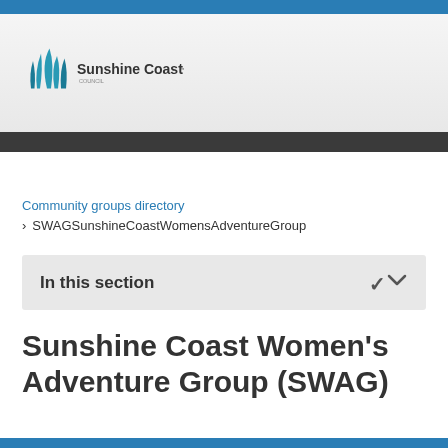[Figure (logo): Sunshine Coast Council logo with teal wave/grass graphic and text 'Sunshine Coast COUNCIL']
Community groups directory
> SWAGSunshineCoastWomensAdventureGroup
In this section
Sunshine Coast Women's Adventure Group (SWAG)